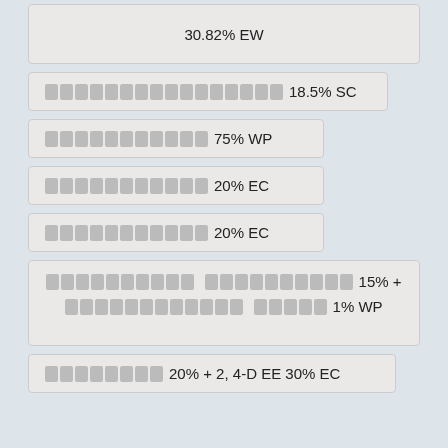30.82% EW
[Thai text] 18.5% SC
[Thai text] 75% WP
[Thai text] 20% EC
[Thai text] 20% EC
[Thai text] [Thai text] 15% + [Thai text] [Thai text] 1% WP
[Thai text] 20% + 2, 4-D EE 30% EC